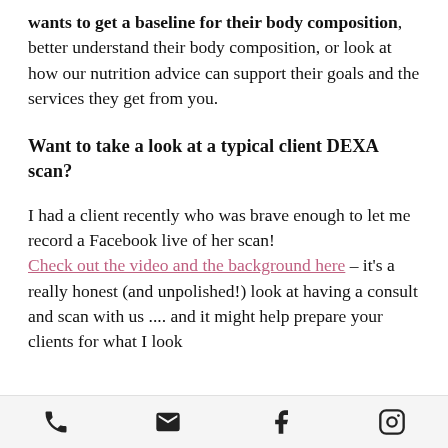wants to get a baseline for their body composition, better understand their body composition, or look at how our nutrition advice can support their goals and the services they get from you.
Want to take a look at a typical client DEXA scan?
I had a client recently who was brave enough to let me record a Facebook live of her scan! Check out the video and the background here – it's a really honest (and unpolished!) look at having a consult and scan with us .... and it might help prepare your clients for what I look
phone | email | facebook | instagram icons